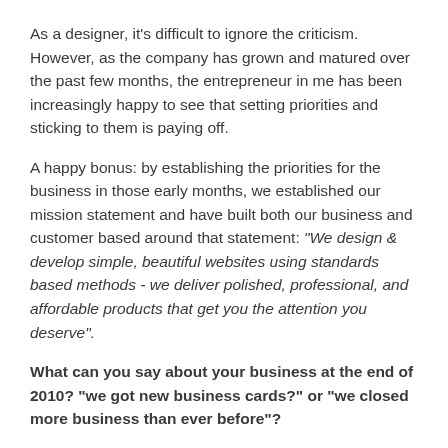As a designer, it's difficult to ignore the criticism. However, as the company has grown and matured over the past few months, the entrepreneur in me has been increasingly happy to see that setting priorities and sticking to them is paying off.
A happy bonus: by establishing the priorities for the business in those early months, we established our mission statement and have built both our business and customer based around that statement: "We design & develop simple, beautiful websites using standards based methods - we deliver polished, professional, and affordable products that get you the attention you deserve".
What can you say about your business at the end of 2010? "we got new business cards?" or "we closed more business than ever before"?